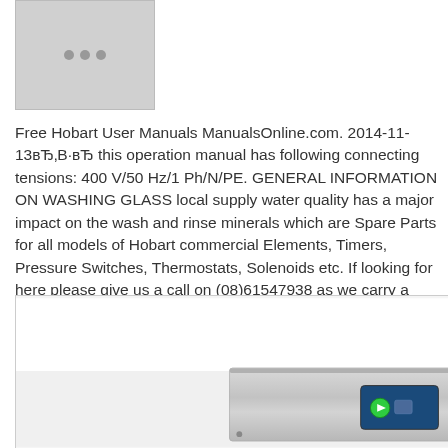[Figure (photo): Grey placeholder image box with three dots, representing a product or logo image]
Free Hobart User Manuals ManualsOnline.com. 2014-11-13вЂ‚В·вЂ this operation manual has following connecting tensions: 400 V/50 Hz/1 Ph/N/PE. GENERAL INFORMATION ON WASHING GLASS local supply water quality has a major impact on the wash and rinse minerals which are Spare Parts for all models of Hobart commercial Elements, Timers, Pressure Switches, Thermostats, Solenoids etc. If looking for here please give us a call on (08)61547938 as we carry a dishwasher parts and probably have it on the shelf or can get it for yo
[Figure (photo): Hobart commercial dishwasher appliance, stainless steel with blue digital display panel and green button, partially visible at bottom of frame]